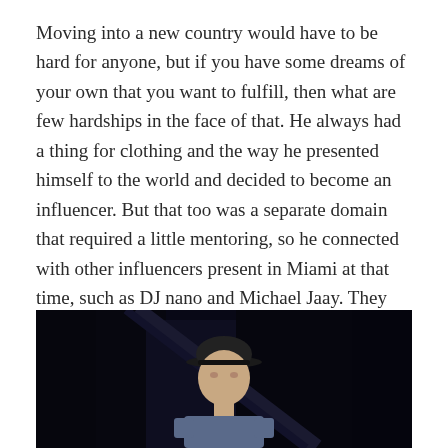Moving into a new country would have to be hard for anyone, but if you have some dreams of your own that you want to fulfill, then what are few hardships in the face of that. He always had a thing for clothing and the way he presented himself to the world and decided to become an influencer. But that too was a separate domain that required a little mentoring, so he connected with other influencers present in Miami at that time, such as DJ nano and Michael Jaay. They inspired King Tony to pursue his dreams and use what he loves as a medium to do so. He is currently working on his own clothing brand, designing clothes to inspire the DJ and partying culture of Miami, Florida.
[Figure (photo): A man wearing a black cap standing in a dark nightclub or outdoor nighttime setting. The background is very dark, nearly black, with some faint structural elements visible.]